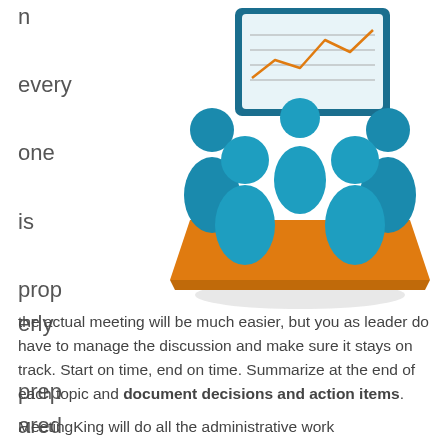n every one is properly prepared
[Figure (illustration): Illustration of a business meeting with blue human figures seated around an orange table, and a presentation screen/monitor in the background showing a line chart.]
the actual meeting will be much easier, but you as leader do have to manage the discussion and make sure it stays on track. Start on time, end on time. Summarize at the end of each topic and document decisions and action items.
MeetingKing will do all the administrative work